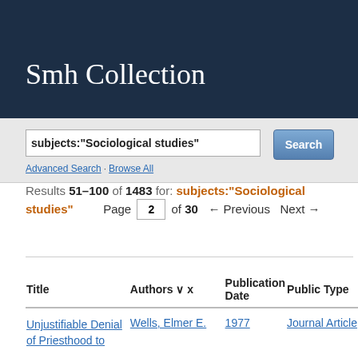Smh Collection
subjects:"Sociological studies"
Advanced Search · Browse All
Results 51–100 of 1483 for: subjects:"Sociological studies" Page 2 of 30 ← Previous Next →
| Title | Authors | Publication Date | Publication Type |
| --- | --- | --- | --- |
| Unjustifiable Denial of Priesthood to | Wells, Elmer E. | 1977 | Journal Article |